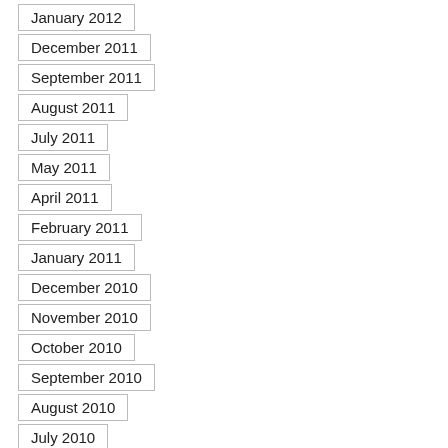January 2012
December 2011
September 2011
August 2011
July 2011
May 2011
April 2011
February 2011
January 2011
December 2010
November 2010
October 2010
September 2010
August 2010
July 2010